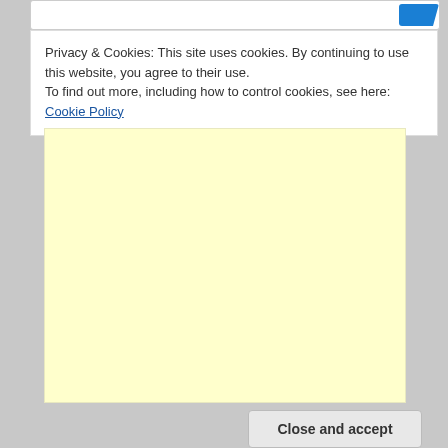Privacy & Cookies: This site uses cookies. By continuing to use this website, you agree to their use.
To find out more, including how to control cookies, see here: Cookie Policy
[Figure (other): Yellow/cream colored advertisement placeholder box]
Close and accept